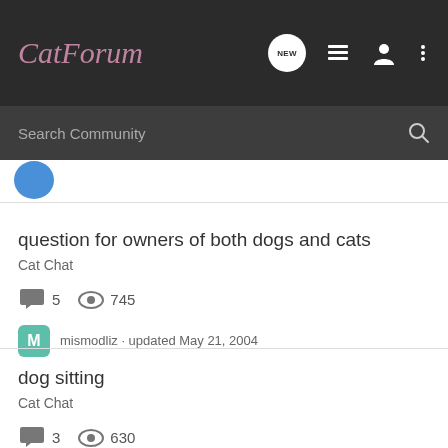CatForum
Search Community
question for owners of both dogs and cats
Cat Chat
5  745
mismodliz · updated May 21, 2004
dog sitting
Cat Chat
3  630
~Siameseifuplz~ · updated Jun 21, 2008